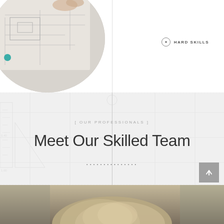[Figure (photo): Circular cropped photo showing architectural blueprints/plans on a table with a person's hands visible, overhead perspective. A teal/turquoise small object visible on the left side.]
HARD SKILLS
[Figure (illustration): Light gray section with faint engineering/blueprint background pattern showing rulers, drafting tools, and technical drawing grid lines.]
[ OUR PROFESSIONALS ]
Meet Our Skilled Team
...............
[Figure (photo): Bottom portion showing the back of a person's head with light/blonde hair, cropped at the bottom of the page.]